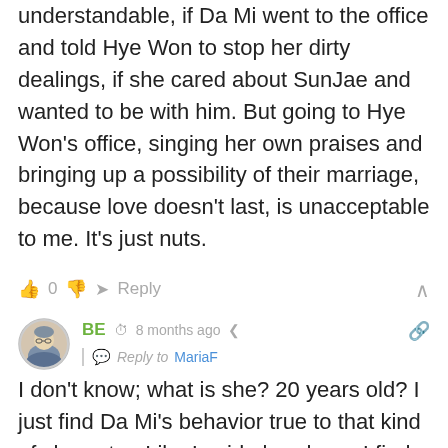understandable, if Da Mi went to the office and told Hye Won to stop her dirty dealings, if she cared about SunJae and wanted to be with him. But going to Hye Won's office, singing her own praises and bringing up a possibility of their marriage, because love doesn't last, is unacceptable to me. It's just nuts.
👍 0 👎 ➤ Reply ∧
[Figure (illustration): User avatar — circular image of a cartoon figure wearing blue/purple clothing]
BE  🕐 8 months ago  🔗 | Reply to MariaF
I don't know; what is she? 20 years old? I just find Da Mi's behavior true to that kind of character. Like I said elsewhere, I find her, much like Hye Won finds her, as somewhat